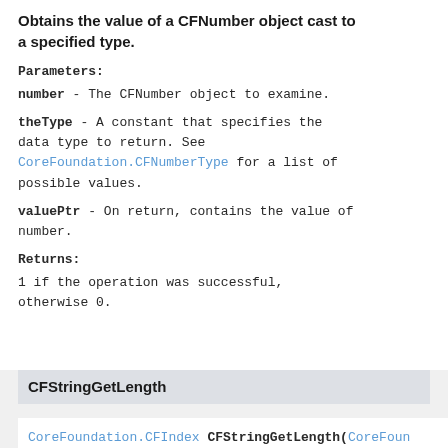Obtains the value of a CFNumber object cast to a specified type.
Parameters:
number - The CFNumber object to examine.
theType - A constant that specifies the data type to return. See CoreFoundation.CFNumberType for a list of possible values.
valuePtr - On return, contains the value of number.
Returns:
1 if the operation was successful, otherwise 0.
CFStringGetLength
CoreFoundation.CFIndex CFStringGetLength(CoreFoundation...
Returns the number (in terms of UTF-16...